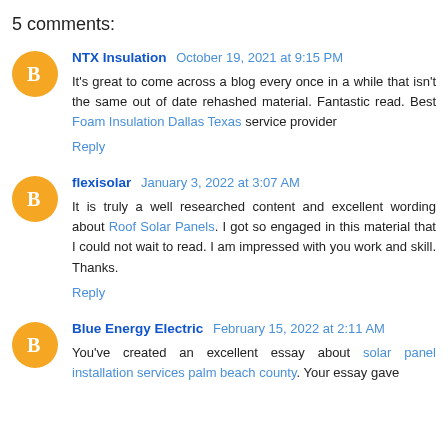5 comments:
NTX Insulation October 19, 2021 at 9:15 PM
It's great to come across a blog every once in a while that isn't the same out of date rehashed material. Fantastic read. Best Foam Insulation Dallas Texas service provider
Reply
flexisolar January 3, 2022 at 3:07 AM
It is truly a well researched content and excellent wording about Roof Solar Panels. I got so engaged in this material that I could not wait to read. I am impressed with you work and skill. Thanks.
Reply
Blue Energy Electric February 15, 2022 at 2:11 AM
You've created an excellent essay about solar panel installation services palm beach county. Your essay gave...